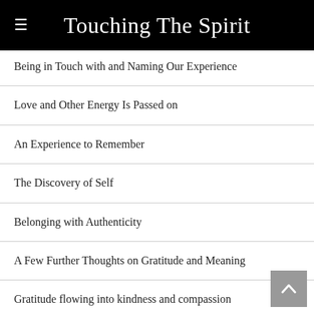Touching The Spirit
Being in Touch with and Naming Our Experience
Love and Other Energy Is Passed on
An Experience to Remember
The Discovery of Self
Belonging with Authenticity
A Few Further Thoughts on Gratitude and Meaning
Gratitude flowing into kindness and compassion
Kindness and Compassion: the Real Revolutionary Qualities